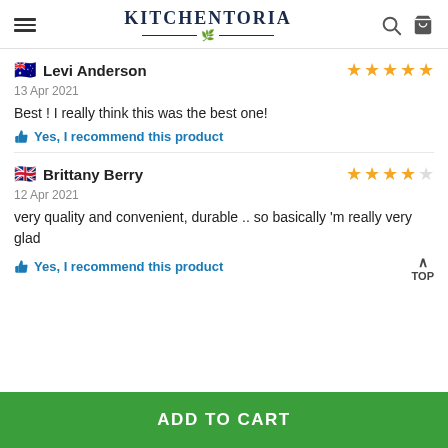KITCHENTORIA
Levi Anderson — 4 stars — 13 Apr 2021 — Best ! I really think this was the best one! — Yes, I recommend this product
Brittany Berry — 4 stars — 12 Apr 2021 — very quality and convenient, durable .. so basically 'm really very glad — Yes, I recommend this product
ADD TO CART